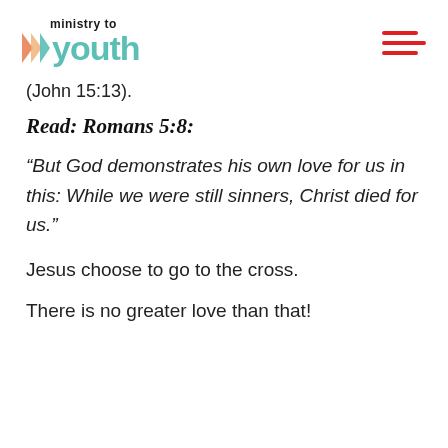ministry to youth
(John 15:13).
Read: Romans 5:8:
“But God demonstrates his own love for us in this: While we were still sinners, Christ died for us.”
Jesus choose to go to the cross.
There is no greater love than that!